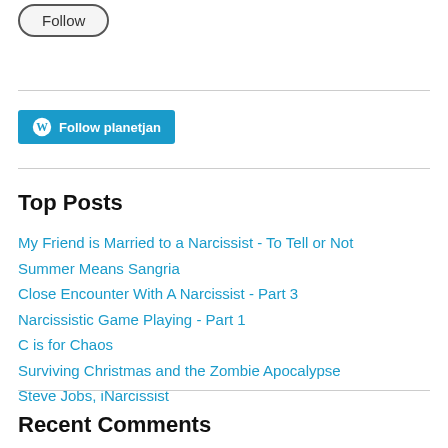[Figure (other): Follow button — pill-shaped outlined button with text 'Follow']
[Figure (other): WordPress Follow button with WP logo and text 'Follow planetjan' on cyan background]
Top Posts
My Friend is Married to a Narcissist - To Tell or Not
Summer Means Sangria
Close Encounter With A Narcissist - Part 3
Narcissistic Game Playing - Part 1
C is for Chaos
Surviving Christmas and the Zombie Apocalypse
Steve Jobs, iNarcissist
Recent Comments